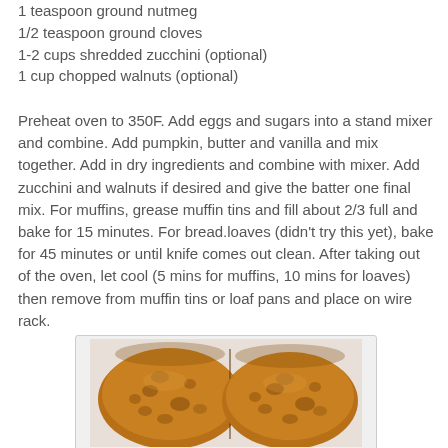1 teaspoon ground nutmeg
1/2 teaspoon ground cloves
1-2 cups shredded zucchini (optional)
1 cup chopped walnuts (optional)
Preheat oven to 350F.  Add eggs and sugars into a stand mixer and combine.  Add pumpkin, butter and vanilla and mix together.  Add in dry ingredients and combine with mixer.  Add zucchini and walnuts if desired and give the batter one final mix.  For muffins, grease muffin tins and fill about 2/3 full and bake for 15 minutes.  For bread.loaves (didn't try this yet), bake for 45 minutes or until knife comes out clean.  After taking out of the oven, let cool (5 mins for muffins, 10 mins for loaves) then remove from muffin tins or loaf pans and place on wire rack.
[Figure (photo): Photo of two halves of a pumpkin muffin showing the inside crumb texture, golden-brown color, placed on a light surface.]